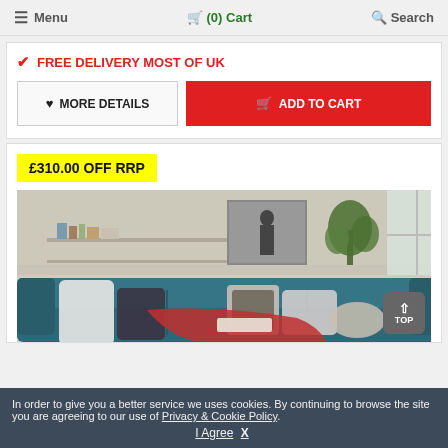≡ Menu   🛒 (0) Cart   🔍 Search
✔ FREE DELIVERY MOST OF UK
♥ MORE DETAILS   🛒 ADD TO CART
£310.00 OFF RRP
[Figure (photo): Blue sofa/couch with cushions in a modern living room setting with shelving and a plant in the background]
In order to give you a better service we uses cookies. By continuing to browse the site you are agreeing to our use of Privacy & Cookie Policy. I Agree X